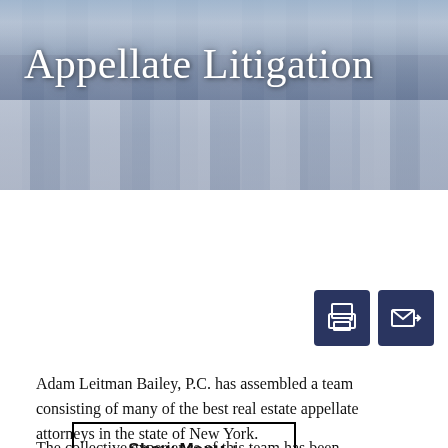[Figure (photo): Classical courthouse columns with blue sky backdrop, used as decorative hero banner]
Appellate Litigation
Show Menu +
[Figure (infographic): Two dark navy blue square icon buttons: a print icon and an email/envelope icon]
Adam Leitman Bailey, P.C. has assembled a team consisting of many of the best real estate appellate attorneys in the state of New York.
The collective experience of this team has been